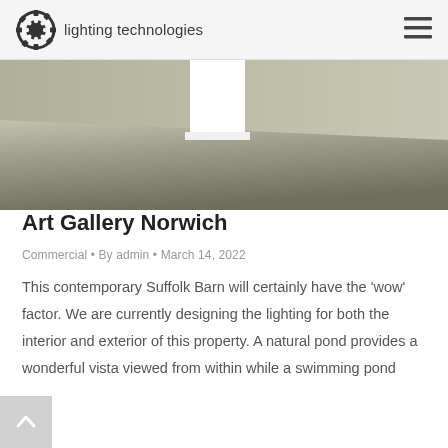lighting technologies
[Figure (photo): Interior photo of a contemporary barn space with polished concrete floor and white architectural element, viewed from above/angle]
Art Gallery Norwich
Commercial • By admin • March 14, 2022
This contemporary Suffolk Barn will certainly have the 'wow' factor. We are currently designing the lighting for both the interior and exterior of this property. A natural pond provides a wonderful vista viewed from within while a swimming pond